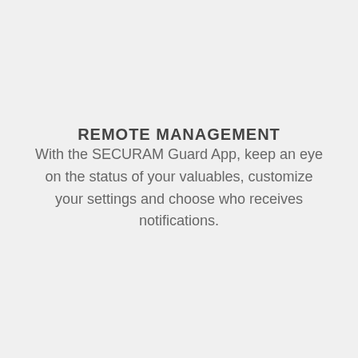REMOTE MANAGEMENT
With the SECURAM Guard App, keep an eye on the status of your valuables, customize your settings and choose who receives notifications.